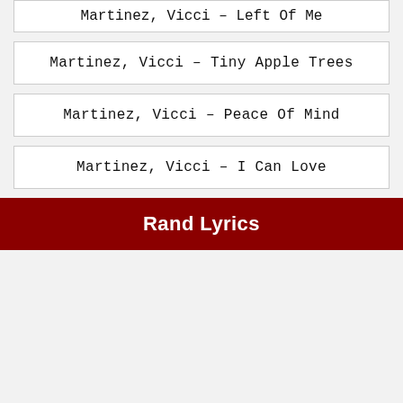Martinez, Vicci – Left Of Me
Martinez, Vicci – Tiny Apple Trees
Martinez, Vicci – Peace Of Mind
Martinez, Vicci – I Can Love
Rand Lyrics